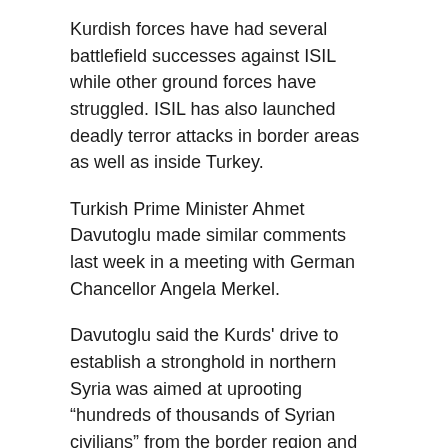Kurdish forces have had several battlefield successes against ISIL while other ground forces have struggled. ISIL has also launched deadly terror attacks in border areas as well as inside Turkey.
Turkish Prime Minister Ahmet Davutoglu made similar comments last week in a meeting with German Chancellor Angela Merkel.
Davutoglu said the Kurds' drive to establish a stronghold in northern Syria was aimed at uprooting “hundreds of thousands of Syrian civilians” from the border region and “creating a new humanitarian crisis.”
“This is aimed not just at Turkey but also the European Union,” he said, warning of a “new wave of hundreds of thousands of refugees.”
Ahmet Davutoglu, Erdogan: Will Turkey stop shelling anti-ISIL Kurdish forces in Syria? None ISIL